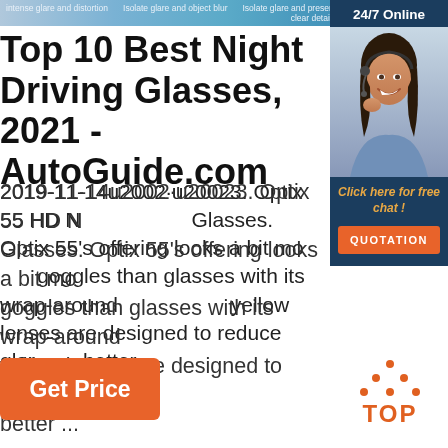intense glare and distortion   Isolate glare and object blur   Isolate glare and present clear details
Top 10 Best Night Driving Glasses, 2021 - AutoGuide.com
2019-11-14u2002·u20023. Optix 55 HD Night Driving Glasses. Optix 55's offering looks a bit more goggles than glasses with its wrap-around yellow lenses are designed to reduce glare better ...
[Figure (photo): Customer service representative - woman with headset smiling, with 24/7 Online banner, Click here for free chat text, and QUOTATION orange button on dark blue background]
[Figure (logo): TOP logo with orange dots forming triangle above the word TOP in orange letters]
Get Price